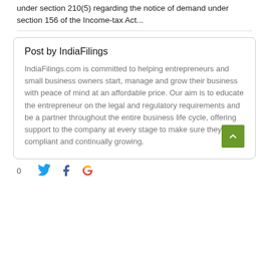under section 210(5) regarding the notice of demand under section 156 of the Income-tax Act...
Post by IndiaFilings
IndiaFilings.com is committed to helping entrepreneurs and small business owners start, manage and grow their business with peace of mind at an affordable price. Our aim is to educate the entrepreneur on the legal and regulatory requirements and be a partner throughout the entire business life cycle, offering support to the company at every stage to make sure they are compliant and continually growing.
0